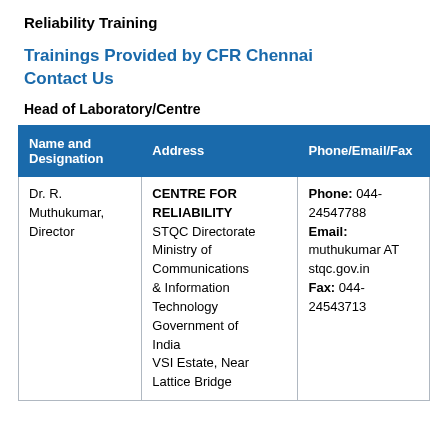Reliability Training
Trainings Provided by CFR Chennai
Contact Us
Head of Laboratory/Centre
| Name and Designation | Address | Phone/Email/Fax |
| --- | --- | --- |
| Dr. R. Muthukumar, Director | CENTRE FOR RELIABILITY STQC Directorate Ministry of Communications & Information Technology Government of India VSI Estate, Near Lattice Bridge | Phone: 044-24547788 Email: muthukumar AT stqc.gov.in Fax: 044-24543713 |